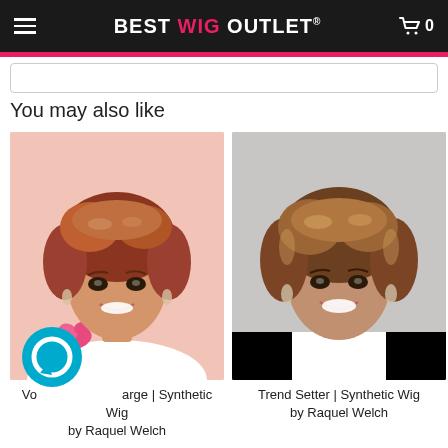BEST WIG OUTLET
You may also like
[Figure (photo): Woman modeling 'Volume Large' synthetic wig by Raquel Welch, short layered auburn hair, pink background with pink rose]
Volume Large | Synthetic Wig
by Raquel Welch
[Figure (photo): Woman modeling 'Trend Setter' synthetic wig by Raquel Welch, short layered brown/blonde hair, grey background, wearing black and white outfit]
Trend Setter | Synthetic Wig
by Raquel Welch